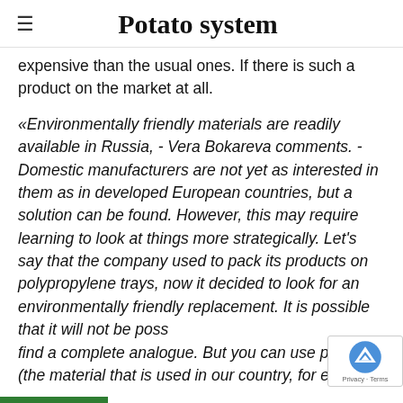Potato system
expensive than the usual ones. If there is such a product on the market at all.
«Environmentally friendly materials are readily available in Russia, - Vera Bokareva comments. - Domestic manufacturers are not yet as interested in them as in developed European countries, but a solution can be found. However, this may require learning to look at things more strategically. Let's say that the company used to pack its products on polypropylene trays, now it decided to look for an environmentally friendly replacement. It is possible that it will not be possible to find a complete analogue. But you can use pulpe (the material that is used in our country, for exam…